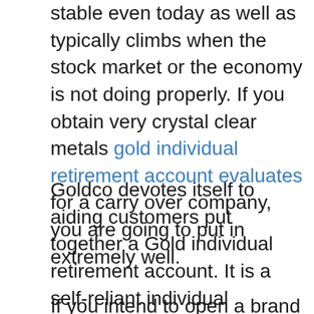stable even today as well as typically climbs when the stock market or the economy is not doing properly. If you obtain very crystal clear metals gold individual retirement account evaluates for a carry over company, you are going to put in extremely well.
Goldco devotes itself to aiding customers put together a Gold individual retirement account. It is a self-reliant individual retirement account that enables customers to get gold in their individual retirement account instead of equities or even connects. It is straightforward to establish a self-directed individual retirement account with them.
If you intend to open a brand new individual